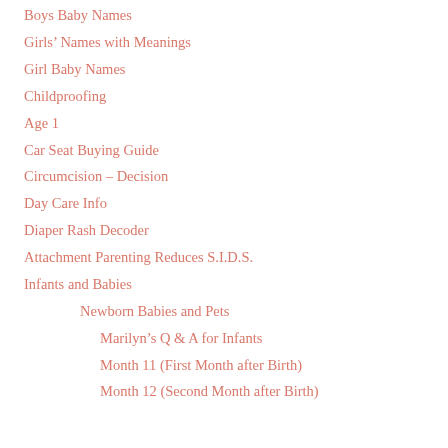Boys Baby Names
Girls’ Names with Meanings
Girl Baby Names
Childproofing
Age 1
Car Seat Buying Guide
Circumcision – Decision
Day Care Info
Diaper Rash Decoder
Attachment Parenting Reduces S.I.D.S.
Infants and Babies
Newborn Babies and Pets
Marilyn’s Q & A for Infants
Month 11 (First Month after Birth)
Month 12 (Second Month after Birth)